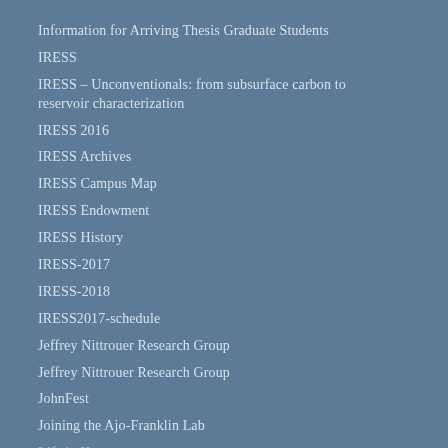Information for Arriving Thesis Graduate Students
IRESS
IRESS – Unconventionals: from subsurface carbon to reservoir characterization
IRESS 2016
IRESS Archives
IRESS Campus Map
IRESS Endowment
IRESS History
IRESS-2017
IRESS-2018
IRESS2017-schedule
Jeffrey Nittrouer Research Group
Jeffrey Nittrouer Research Group
JohnFest
Joining the Ajo-Franklin Lab
Life in Houston